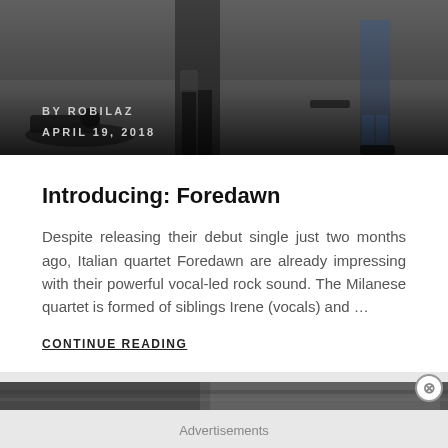[Figure (photo): Dark overhead photo showing people (legs/lower body) in what appears to be a studio or event space with camera equipment on the floor]
BY ROBILAZ
APRIL 19, 2018
Introducing: Foredawn
Despite releasing their debut single just two months ago, Italian quartet Foredawn are already impressing with their powerful vocal-led rock sound. The Milanese quartet is formed of siblings Irene (vocals) and ...
CONTINUE READING
Advertisements